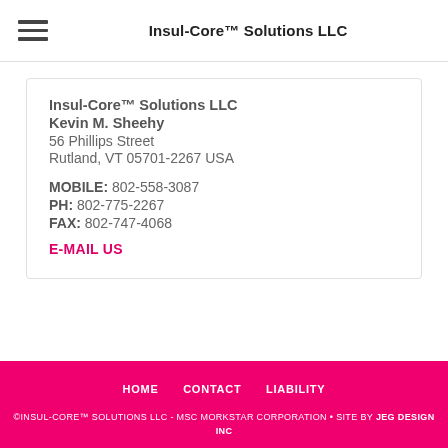Insul-Core™ Solutions LLC
Insul-Core™ Solutions LLC
Kevin M. Sheehy
56 Phillips Street
Rutland, VT 05701-2267 USA

MOBILE: 802-558-3087
PH: 802-775-2267
FAX: 802-747-4068
E-MAIL US
HOME  CONTACT  LIABILITY
©INSUL-CORE™ SOLUTIONS LLC - MSC MORKSTAR CORPORATION • SITE BY JEG DESIGN INC